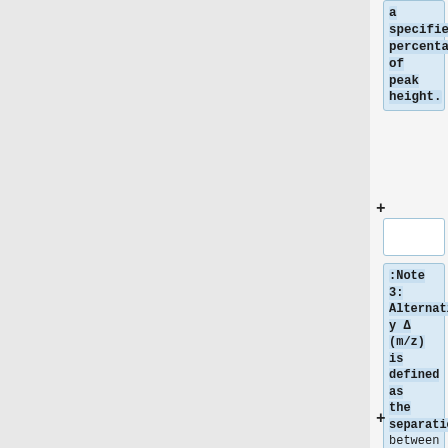a specified percentage of peak height.
:Note 3: Alternatively &Delta;(m/z) is defined as the separation between two adjacent equal magnitude peaks such that the valley between them